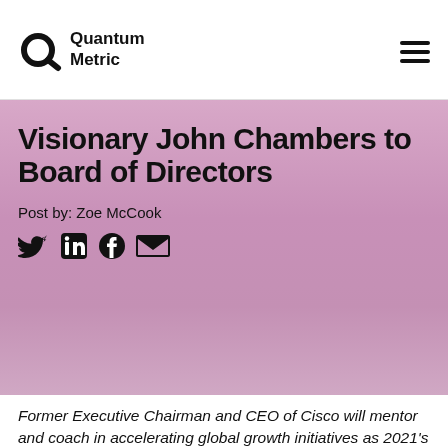Quantum Metric
Visionary John Chambers to Board of Directors
Post by: Zoe McCook
[Figure (other): Social media sharing icons: Twitter, LinkedIn, Facebook, Email]
Former Executive Chairman and CEO of Cisco will mentor and coach in accelerating global growth initiatives as 2021's first tech unicorn scales